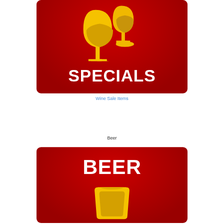[Figure (illustration): Red rounded rectangle card with wine glasses icon (two overlapping golden wine glasses) and bold white text SPECIALS]
Wine Sale Items
Beer
[Figure (illustration): Red rounded rectangle card with bold white text BEER and a golden beer mug/cup icon at the bottom]